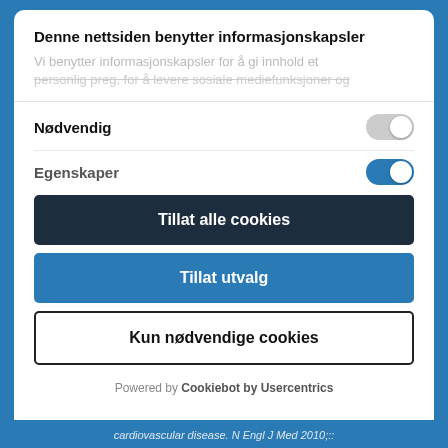Denne nettsiden benytter informasjonskapsler
Vi benytter informasjonskapsler for å gi innhold et personlig preg, for å levere sosiale mediefunksjoner og
Nødvendig
Egenskaper
Tillat alle cookies
Tillat utvalg
Kun nødvendige cookies
Powered by Cookiebot by Usercentrics
cardiovascular disease. N Engl J Med 2010;: